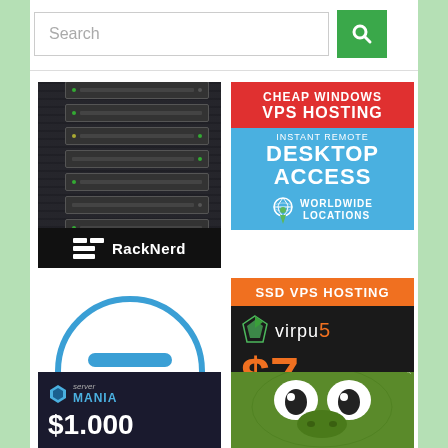[Figure (screenshot): Search bar with green search button]
[Figure (illustration): RackNerd hosting advertisement - dark server rack background with RackNerd logo at bottom]
[Figure (illustration): Cheap Windows VPS Hosting ad - red top banner, blue body with Instant Remote Desktop Access, Worldwide Locations]
[Figure (logo): Blue circle with horizontal bars icon logo]
[Figure (illustration): Virpus SSD VPS Hosting ad - orange top bar, dark background, $7/mo pricing]
[Figure (illustration): Server Mania ad - dark background with logo and $1.000 price]
[Figure (photo): Photo of Kermit the Frog]